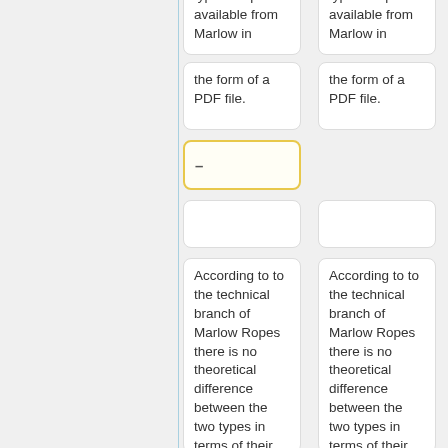specification for the AC sailing type of rope is available from Marlow in
specification for the AC sailing type of rope is available from Marlow in
the form of a PDF file.
the form of a PDF file.
According to to the technical branch of Marlow Ropes there is no theoretical difference between the two types in terms of their stretch characteristics. The identifiable diff...
According to to the technical branch of Marlow Ropes there is no theoretical difference between the two types in terms of their stretch characteristics. The identifiable diff...